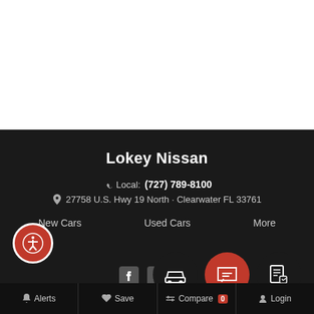[Figure (screenshot): White area at top representing main page content]
Lokey Nissan
Local: (727) 789-8100
27758 U.S. Hwy 19 North · Clearwater FL 33761
New Cars   Used Cars   More
Alerts   Save   Compare 0   Login